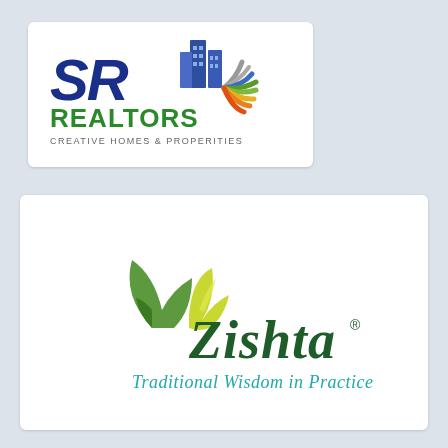[Figure (logo): SR Realtors logo with blue SR letters, colorful building and fan design, green REALTORS text, and tagline CREATIVE HOMES & PROPERITIES]
[Figure (logo): Zishta logo with green leaf design, dark green Zishta wordmark with registered trademark symbol, and teal cursive tagline Traditional Wisdom in Practice]